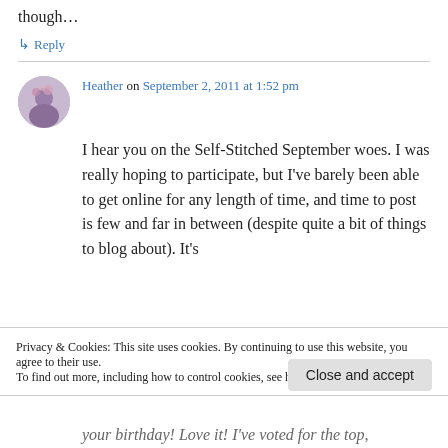though…
↳ Reply
Heather on September 2, 2011 at 1:52 pm
I hear you on the Self-Stitched September woes. I was really hoping to participate, but I've barely been able to get online for any length of time, and time to post is few and far in between (despite quite a bit of things to blog about). It's
Privacy & Cookies: This site uses cookies. By continuing to use this website, you agree to their use. To find out more, including how to control cookies, see here: Cookie Policy
Close and accept
your birthday! Love it! I've voted for the top,